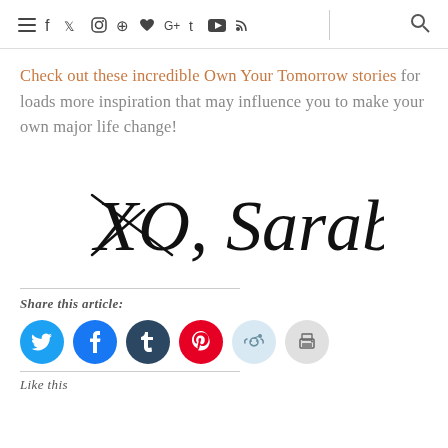Navigation bar with social media icons and search
Check out these incredible Own Your Tomorrow stories for loads more inspiration that may influence you to make your own major life change!
[Figure (illustration): Handwritten cursive signature reading 'XO, Sarabeth']
Share this article:
[Figure (infographic): Row of social share buttons: Twitter, Facebook, Tumblr, Pinterest, Reddit, Print]
Like this